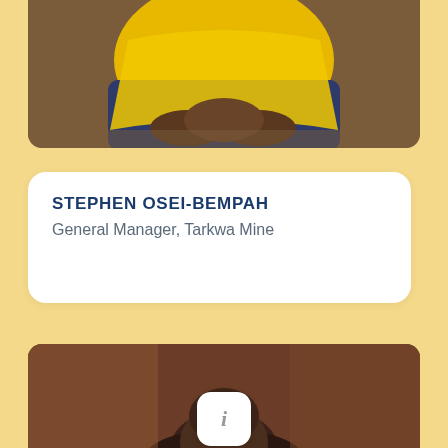[Figure (photo): Person wearing yellow hi-vis vest and dark blue shirt, hands clasped, seated. Only torso and hands visible.]
STEPHEN OSEI-BEMPAH
General Manager, Tarkwa Mine
[Figure (photo): Person's head partially visible from top, seated against a warm brown/dark background.]